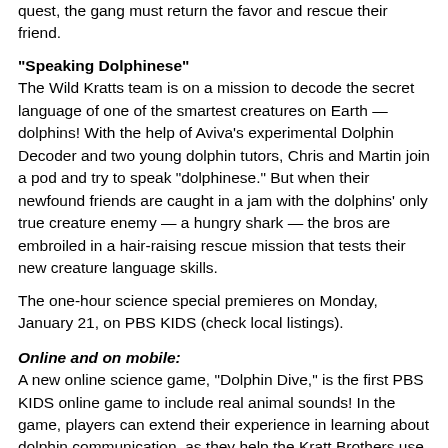quest, the gang must return the favor and rescue their friend.
“Speaking Dolphinese”
The Wild Kratts team is on a mission to decode the secret language of one of the smartest creatures on Earth — dolphins! With the help of Aviva’s experimental Dolphin Decoder and two young dolphin tutors, Chris and Martin join a pod and try to speak “dolphinese.” But when their newfound friends are caught in a jam with the dolphins’ only true creature enemy — a hungry shark — the bros are embroiled in a hair-raising rescue mission that tests their new creature language skills.
The one-hour science special premieres on Monday, January 21, on PBS KIDS (check local listings).
Online and on mobile:
A new online science game, “Dolphin Dive,” is the first PBS KIDS online game to include real animal sounds! In the game, players can extend their experience in learning about dolphin communication, as they help the Kratt Brothers use their dolphin Creature Power Suits to reunite lost dolphin babies with their pod. Kids can earn their own dolphin Creature Power Suit and then explore a new Coral Reef Habitat. Players will encounter amazing sea animals, as they swim alongside a sea turtle and shark. “Dolphin Dive” will launch in the coming weeks, joining WILD KRATTS’ collection of popular science games.
Both full episodes and clips from “Lost at Sea” will be available on the PBS KIDS Video Player at PBSKIDS.org/video and on the PBS KIDS